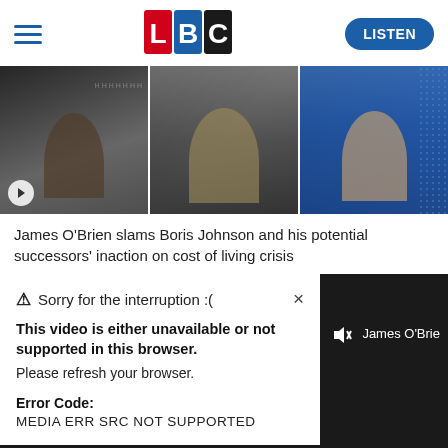[Figure (logo): LBC radio website header with hamburger menu, LBC logo, and LISTEN button]
[Figure (photo): Three photos: Rishi Sunak gesturing, Boris Johnson looking downward, Liz Truss at a podium]
James O'Brien slams Boris Johnson and his potential successors' inaction on cost of living crisis
[Figure (screenshot): Video player error popup on dark background. Error message: Sorry for the interruption :( — This video is either unavailable or not supported in this browser. Please refresh your browser. Error Code: MEDIA ERR SRC NOT SUPPORTED. James O'Brie label visible on right side.]